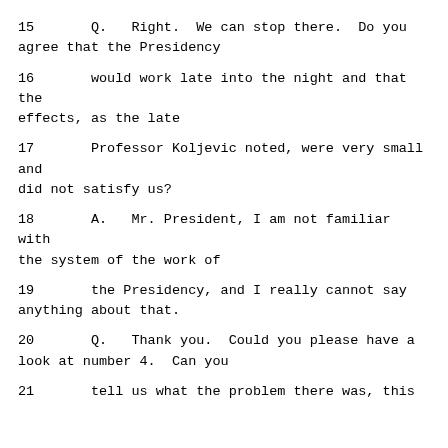15       Q.   Right.  We can stop there.  Do you agree that the Presidency
16       would work late into the night and that the effects, as the late
17       Professor Koljevic noted, were very small and did not satisfy us?
18       A.   Mr. President, I am not familiar with the system of the work of
19       the Presidency, and I really cannot say anything about that.
20       Q.   Thank you.  Could you please have a look at number 4.  Can you
21       tell us what the problem there was, this